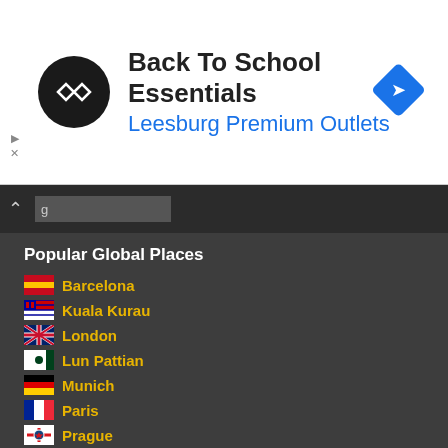[Figure (infographic): Ad banner: Back To School Essentials at Leesburg Premium Outlets with logo circle and navigation diamond icon]
Back To School Essentials
Leesburg Premium Outlets
Popular Global Places
Barcelona
Kuala Kurau
London
Lun Pattian
Munich
Paris
Prague
Rome
Shanghai
Newest Magazine Articles